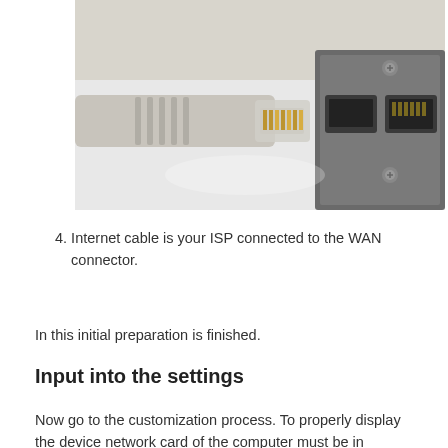[Figure (photo): Close-up photograph of an Ethernet/RJ-45 cable being plugged into a laptop network port. The white/grey cable connector is visible on the left, and the laptop's network ports are on the right.]
4. Internet cable is your ISP connected to the WAN connector.
In this initial preparation is finished.
Input into the settings
Now go to the customization process. To properly display the device network card of the computer must be in